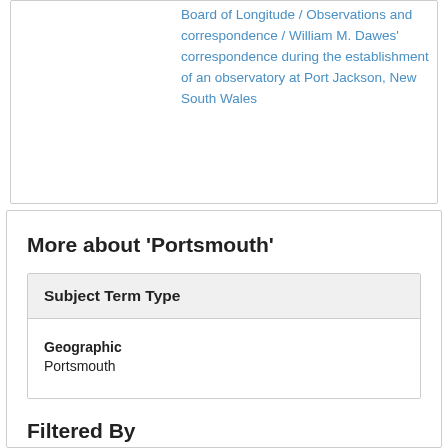Board of Longitude / Observations and correspondence / William M. Dawes' correspondence during the establishment of an observatory at Port Jackson, New South Wales
More about 'Portsmouth'
| Subject Term Type |
| --- |
| Geographic | Portsmouth |
Filtered By